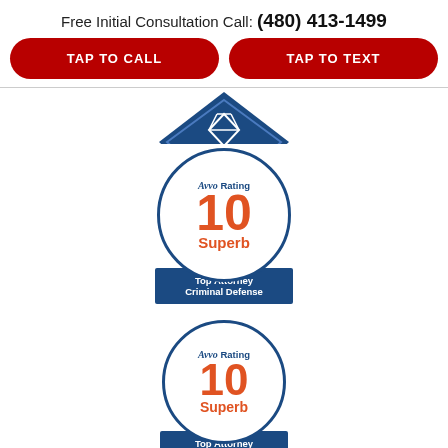Free Initial Consultation Call: (480) 413-1499
TAP TO CALL
TAP TO TEXT
[Figure (logo): Partial view of a diamond-shaped blue badge with a diamond icon inside]
[Figure (logo): Avvo Rating 10 Superb Top Attorney Criminal Defense badge - blue circular border with blue ribbon banner]
[Figure (logo): Avvo Rating 10 Superb Top Attorney DUI & DWI badge - blue circular border with blue ribbon banner]
[Figure (logo): Avvo Clients Choice badge partial view - circular with star logo and text Clients Choice]